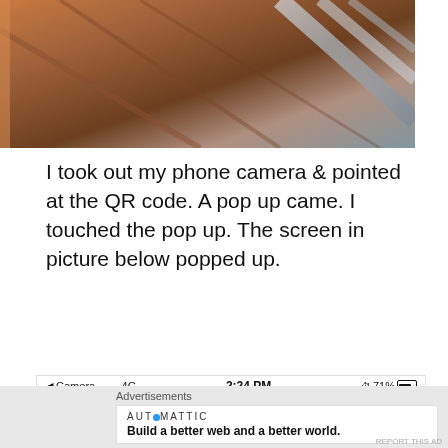[Figure (photo): Close-up photo of a wooden object with metal scissor/tools on a reflective surface, partially cropped at top]
I took out my phone camera & pointed at the QR code. A pop up came. I touched the pop up. The screen in picture below popped up.
[Figure (screenshot): Mobile phone screenshot showing Camera app status bar with 4G, 2:24 PM, 71% battery, navigation arrows, Welcome to Amar Jyoti heading, and contactless dining logo]
Advertisements
[Figure (logo): Automattic logo with tagline: Build a better web and a better world.]